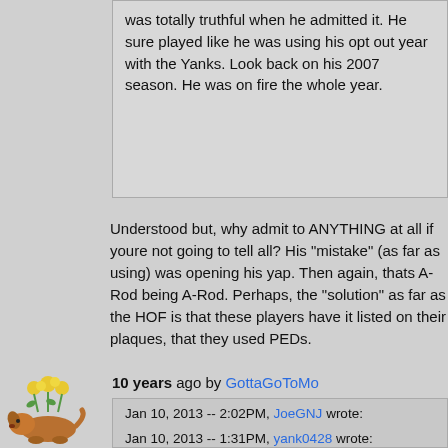was totally truthful when he admitted it. He sure played like he was using his opt out year with the Yanks. Look back on his 2007 season. He was on fire the whole year.
Understood but, why admit to ANYTHING at all if youre not going to tell all? His "mistake" (as far as using) was opening his yap. Then again, thats A-Rod being A-Rod. Perhaps, the "solution" as far as the HOF is that these players have it listed on their plaques, that they used PEDs.
10 years ago by GottaGoToMo
Jan 10, 2013 -- 2:02PM, JoeGNJ wrote:
Jan 10, 2013 -- 1:31PM, yank0428 wrote: